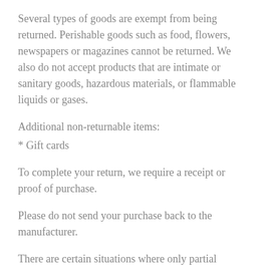Several types of goods are exempt from being returned. Perishable goods such as food, flowers, newspapers or magazines cannot be returned. We also do not accept products that are intimate or sanitary goods, hazardous materials, or flammable liquids or gases.
Additional non-returnable items:
* Gift cards
To complete your return, we require a receipt or proof of purchase.
Please do not send your purchase back to the manufacturer.
There are certain situations where only partial refunds are granted: (if applicable)
* Any item not in its original condition, is damaged or